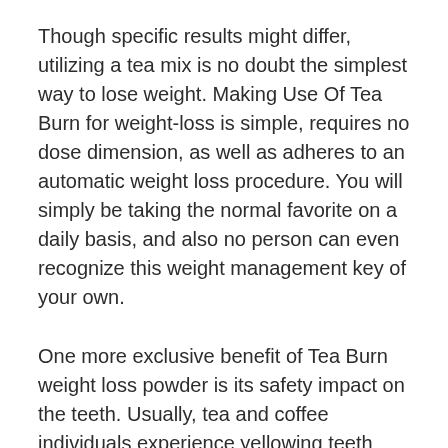Though specific results might differ, utilizing a tea mix is no doubt the simplest way to lose weight. Making Use Of Tea Burn for weight-loss is simple, requires no dose dimension, as well as adheres to an automatic weight loss procedure. You will simply be taking the normal favorite on a daily basis, and also no person can even recognize this weight management key of your own.
One more exclusive benefit of Tea Burn weight loss powder is its safety impact on the teeth. Usually, tea and coffee individuals experience yellowing teeth and also high levels of caffeine stains that make their smiles look bad. Yet the active ingredients in this supplement normalize the effects of tannins from the tea, which lags these